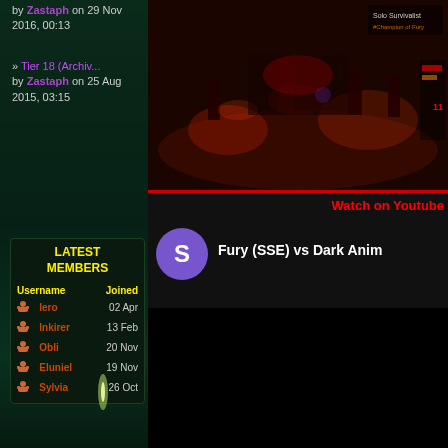by Zastaph on 29 Nov 2016, 00:13
» Tier 18 (Archiv... by Zastaph on 25 Aug 2015, 03:15
LATEST MEMBERS
| Username | Joined |
| --- | --- |
| Iero | 02 Apr |
| Inkirer | 13 Feb |
| Obli | 20 Nov |
| Eluniel | 19 Nov |
| Sylvia | 26 Oct |
[Figure (screenshot): Game screenshot showing dark fantasy raid scene with red lighting and multiple characters]
Watch on Youtube
[Figure (screenshot): Video preview with purple avatar letter S and title 'Fury (SSE) vs Dark Anim']